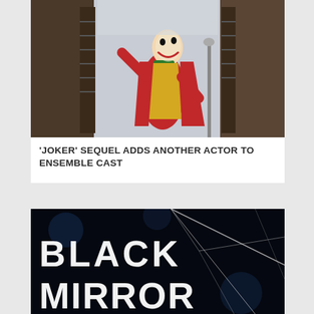[Figure (photo): Joker character in red suit dancing on building stairs, movie still from Joker film]
'JOKER' SEQUEL ADDS ANOTHER ACTOR TO ENSEMBLE CAST
[Figure (photo): Black Mirror title card with cracked screen effect, white bold text on dark background]